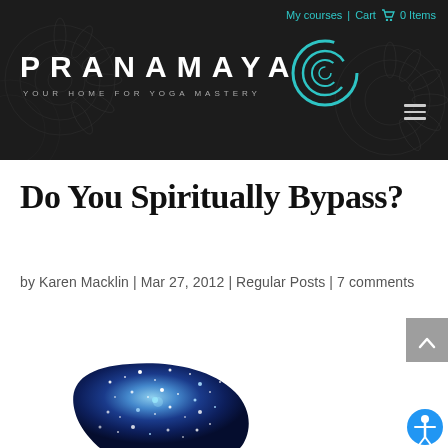My courses | Cart 🛒 0 Items
[Figure (logo): Pranamaya logo with spiral teal graphic, white bold uppercase text reading PRANAMAYA, tagline YOUR HOME FOR YOGA MASTERY in smaller spaced letters, on dark background with mandala pattern]
Do You Spiritually Bypass?
by Karen Macklin | Mar 27, 2012 | Regular Posts | 7 comments
[Figure (photo): Silhouette of a human head in profile facing right, filled with a cosmic starfield galaxy image in blues and whites, suggesting spiritual or cosmic consciousness]